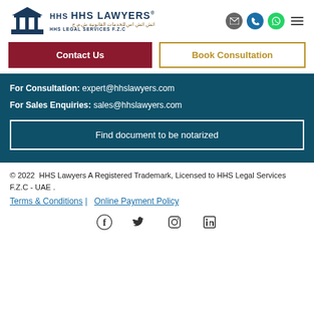[Figure (logo): HHS Lawyers logo with building/scales icon, Arabic text, and HHS Legal Services F.Z.C text]
[Figure (infographic): Navigation icons: mail (gray circle), phone (blue circle), WhatsApp (green circle), hamburger menu]
Contact Us
Book Consultation
For Consultation: expert@hhslawyers.com
For Sales Enquiries: sales@hhslawyers.com
Find document to be notarized
© 2022  HHS Lawyers A Registered Trademark, Licensed to HHS Legal Services F.Z.C - UAE .
Terms & Conditions |   Online Payment Policy
[Figure (infographic): Social media icons: Facebook, Twitter, Instagram, LinkedIn]